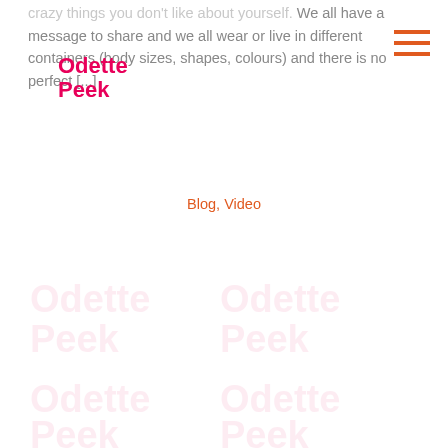Odette Peek
crazy things you don't like about yourself. We all have a message to share and we all wear or live in different containers (body sizes, shapes, colours) and there is no perfect [...]
Blog, Video